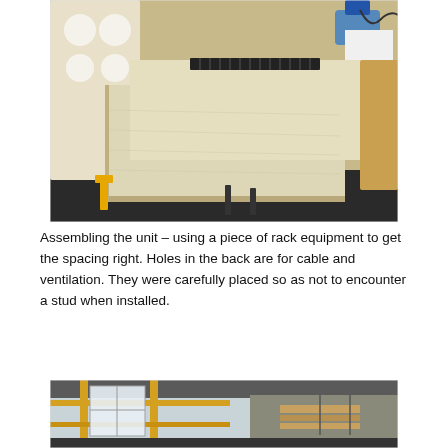[Figure (photo): Workshop photo showing a plywood panel being assembled on a workbench. A piece of rack equipment is visible along with a ruler/measuring tape, clamps, and a sander in the background. Circular holes are visible in a panel on the left side.]
Assembling the unit – using a piece of rack equipment to get the spacing right. Holes in the back are for cable and ventilation. They were carefully placed so as not to encounter a stud when installed.
[Figure (photo): Workshop/garage interior photo showing a large space with yellow metal framing or scaffolding, windows letting in natural light, and what appears to be lumber or building materials.]